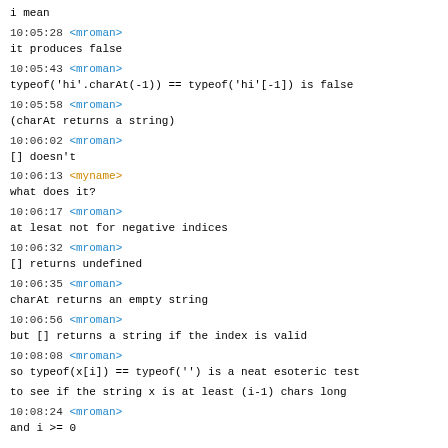i mean
10:05:28 <mroman>
it produces false
10:05:43 <mroman>
typeof('hi'.charAt(-1)) == typeof('hi'[-1]) is false
10:05:58 <mroman>
(charAt returns a string)
10:06:02 <mroman>
[] doesn't
10:06:13 <myname>
what does it?
10:06:17 <mroman>
at lesat not for negative indices
10:06:32 <mroman>
[] returns undefined
10:06:35 <mroman>
charAt returns an empty string
10:06:56 <mroman>
but [] returns a string if the index is valid
10:08:08 <mroman>
so typeof(x[i]) == typeof('') is a neat esoteric test
to see if the string x is at least (i-1) chars long
10:08:24 <mroman>
and i >= 0